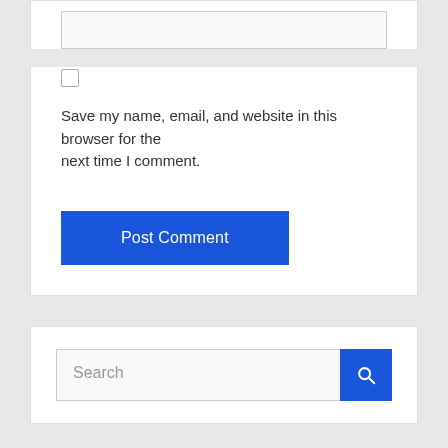[Figure (screenshot): Textarea input stub at top of comment form]
Save my name, email, and website in this browser for the next time I comment.
[Figure (screenshot): Post Comment button - blue rectangle with white text]
[Figure (screenshot): Search bar with blue search button and magnifying glass icon]
[Figure (screenshot): Back to top button - blue-gray square with upward caret icon]